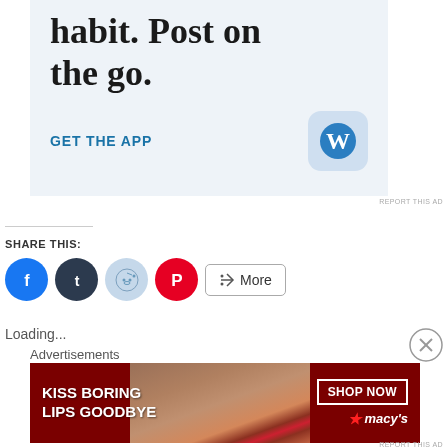[Figure (illustration): WordPress app advertisement banner with light blue background showing headline text 'habit. Post on the go.' with 'GET THE APP' link and WordPress icon]
REPORT THIS AD
SHARE THIS:
[Figure (illustration): Social sharing buttons row: Facebook (blue circle), Tumblr (dark circle), Reddit (light blue circle), Pinterest (red circle), and More button with share icon]
Loading...
Advertisements
[Figure (illustration): Macy's advertisement banner with dark red background, woman's face with red lips, text 'KISS BORING LIPS GOODBYE', 'SHOP NOW' button, and Macy's logo with star]
REPORT THIS AD